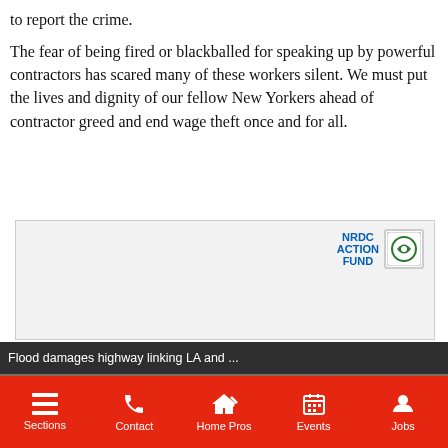to report the crime.
The fear of being fired or blackballed for speaking up by powerful contractors has scared many of these workers silent. We must put the lives and dignity of our fellow New Yorkers ahead of contractor greed and end wage theft once and for all.
[Figure (screenshot): NRDC Action Fund advertisement banner with logo]
[Figure (screenshot): Video popup overlay showing 'Flood damages highway linking LA and ...' with aerial footage of flood-damaged highway and mute/play controls]
Sections  Contact  Home Pros  Events  Jobs